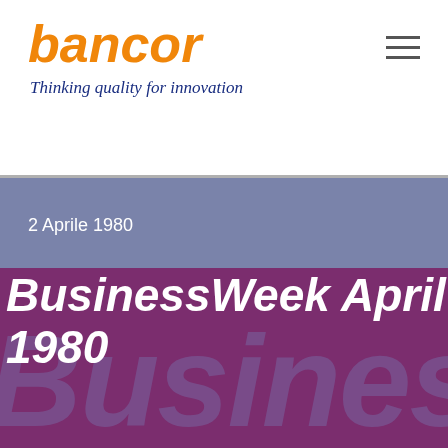bancor — Thinking quality for innovation
2 Aprile 1980
BusinessWeek April 1980
Dicono di noi
Questo sito utilizza cookies tecnici. Proseguendo la navigazione, accetterai di riceverne.
Ho capito | Privacy & Cookies policy